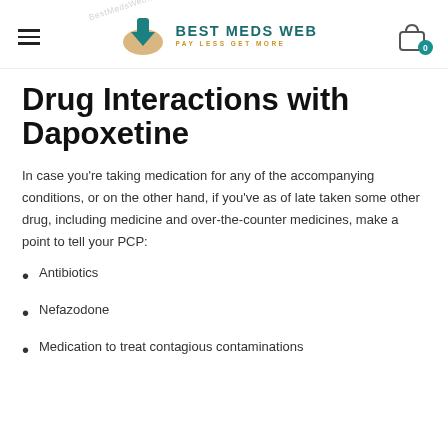BEST MEDS WEB — PAY LESS GET MORE
Drug Interactions with Dapoxetine
In case you're taking medication for any of the accompanying conditions, or on the other hand, if you've as of late taken some other drug, including medicine and over-the-counter medicines, make a point to tell your PCP:
Antibiotics
Nefazodone
Medication to treat contagious contaminations